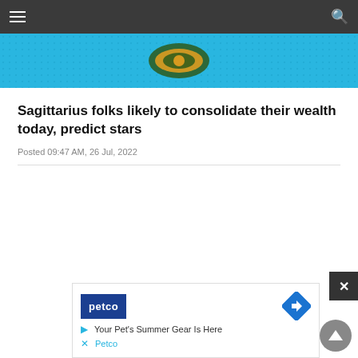Navigation bar with hamburger menu and search icon
[Figure (illustration): Blue banner with a decorative logo/icon in the center, dark dotted pattern border]
Sagittarius folks likely to consolidate their wealth today, predict stars
Posted 09:47 AM, 26 Jul, 2022
[Figure (other): Advertisement for Petco showing logo, navigation arrow icon, text 'Your Pet's Summer Gear Is Here' and 'Petco' link with play and close icons]